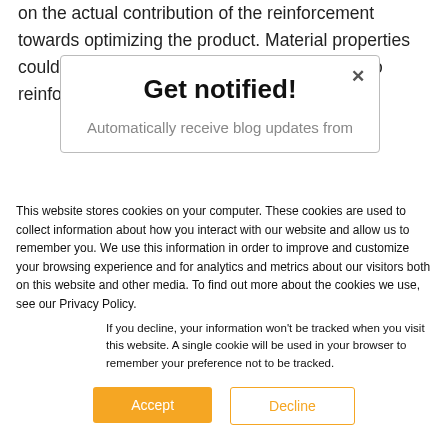on the actual contribution of the reinforcement towards optimizing the product. Material properties could be a variable under investigation but also reinforcement orientation is known to be a
Get notified!
Automatically receive blog updates from
This website stores cookies on your computer. These cookies are used to collect information about how you interact with our website and allow us to remember you. We use this information in order to improve and customize your browsing experience and for analytics and metrics about our visitors both on this website and other media. To find out more about the cookies we use, see our Privacy Policy.
If you decline, your information won't be tracked when you visit this website. A single cookie will be used in your browser to remember your preference not to be tracked.
Accept
Decline